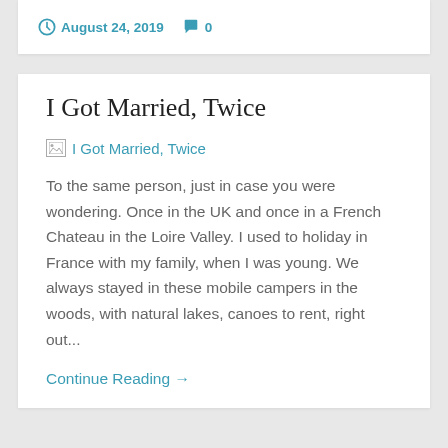August 24, 2019  0
I Got Married, Twice
[Figure (illustration): Broken image placeholder with link text 'I Got Married, Twice']
To the same person, just in case you were wondering. Once in the UK and once in a French Chateau in the Loire Valley. I used to holiday in France with my family, when I was young. We always stayed in these mobile campers in the woods, with natural lakes, canoes to rent, right out...
Continue Reading →